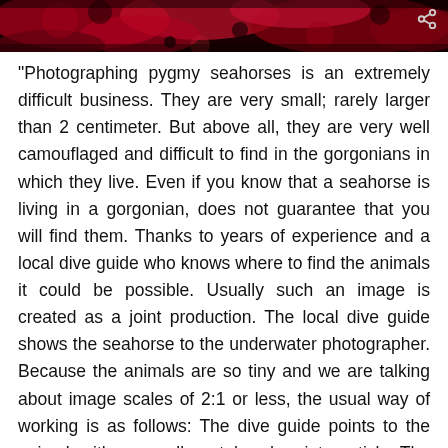[Figure (photo): Dark red/crimson coral or sea anemone texture filling the top header strip of the page]
"Photographing pygmy seahorses is an extremely difficult business. They are very small; rarely larger than 2 centimeter. But above all, they are very well camouflaged and difficult to find in the gorgonians in which they live. Even if you know that a seahorse is living in a gorgonian, does not guarantee that you will find them. Thanks to years of experience and a local dive guide who knows where to find the animals it could be possible. Usually such an image is created as a joint production. The local dive guide shows the seahorse to the underwater photographer. Because the animals are so tiny and we are talking about image scales of 2:1 or less, the usual way of working is as follows: The dive guide points to the animal with a small metal rod pointer stick. The photographer first looks at the hand of the dive guide and finds the seahorse using the pointer stick as